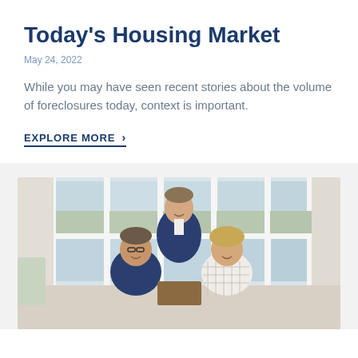Today's Housing Market
May 24, 2022
While you may have seen recent stories about the volume of foreclosures today, context is important.
EXPLORE MORE >
[Figure (photo): Three people posing in a bright room with large white-framed windows in the background. One person standing behind two seated people, all smiling.]